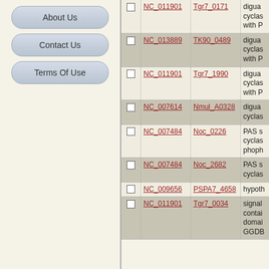About Us
Contact Us
Terms Of Use
|  | NC ID | Gene | Description |
| --- | --- | --- | --- |
| ☐ | NC_011901 | Tgr7_0171 | diguanylate cyclas... with P... |
| ☐ | NC_013889 | TK90_0489 | diguanylate cyclas... with P... |
| ☐ | NC_011901 | Tgr7_1990 | diguanylate cyclas... with P... |
| ☐ | NC_007614 | Nmul_A0328 | diguanylate cyclas... |
| ☐ | NC_007484 | Noc_0226 | PAS s... cyclas... phoph... |
| ☐ | NC_007484 | Noc_2682 | PAS s... cyclas... |
| ☐ | NC_009656 | PSPA7_4658 | hypoth... |
| ☐ | NC_011901 | Tgr7_0034 | signal... contai... domai... GGDB... |